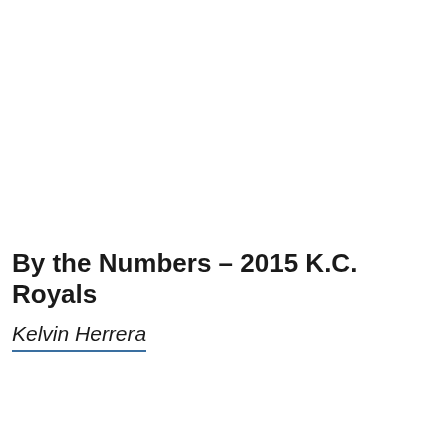By the Numbers – 2015 K.C. Royals
Kelvin Herrera
[Figure (other): Advertisement banner: Official NFL Gear – Get Your Favorite Team's Gear Here – www.nflshop.com, with a red image showing '50% OFF', a close button, and a blue circular arrow button.]